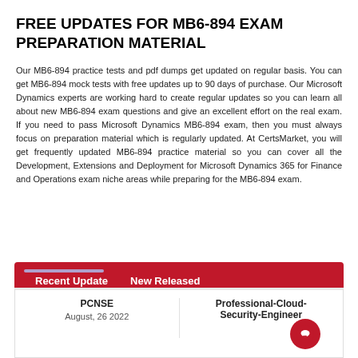FREE UPDATES FOR MB6-894 EXAM PREPARATION MATERIAL
Our MB6-894 practice tests and pdf dumps get updated on regular basis. You can get MB6-894 mock tests with free updates up to 90 days of purchase. Our Microsoft Dynamics experts are working hard to create regular updates so you can learn all about new MB6-894 exam questions and give an excellent effort on the real exam. If you need to pass Microsoft Dynamics MB6-894 exam, then you must always focus on preparation material which is regularly updated. At CertsMarket, you will get frequently updated MB6-894 practice material so you can cover all the Development, Extensions and Deployment for Microsoft Dynamics 365 for Finance and Operations exam niche areas while preparing for the MB6-894 exam.
Recent Update   New Released
PCNSE
August, 26 2022
Professional-Cloud-Security-Engineer